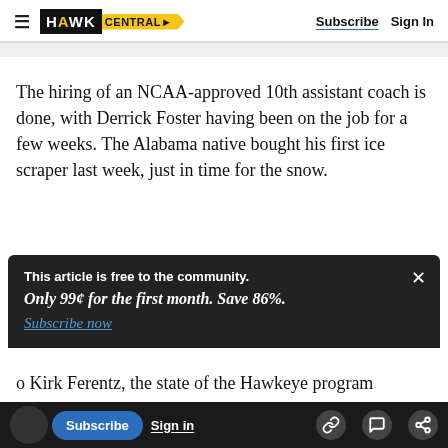HAWK CENTRAL — Subscribe  Sign In
The hiring of an NCAA-approved 10th assistant coach is done, with Derrick Foster having been on the job for a few weeks. The Alabama native bought his first ice scraper last week, just in time for the snow.
This article is free to the community.
Only 99¢ for the first month. Save 86%.
Subscribe now
o Kirk Ferentz, the state of the Hawkeye program
"I feel really good," he said. "It's positive. The